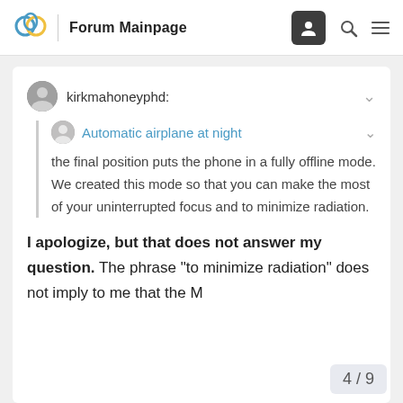Forum Mainpage
kirkmahoneyphd:
Automatic airplane at night
the final position puts the phone in a fully offline mode. We created this mode so that you can make the most of your uninterrupted focus and to minimize radiation.
I apologize, but that does not answer my question. The phrase "to minimize radiation" does not imply to me that the M
4 / 9